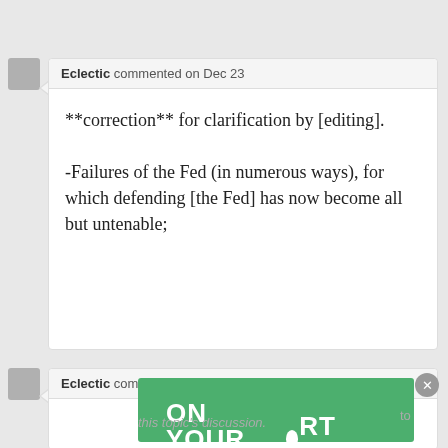Eclectic commented on Dec 23
**correction** for clarification by [editing].

-Failures of the Fed (in numerous ways), for which defending [the Fed] has now become all but untenable;
Eclectic commented on Dec 23
[Figure (screenshot): Green advertisement banner reading 'ON YOUR SHORT GAME' with a white circle replacing the O in SHORT]
to this topic's discussion.